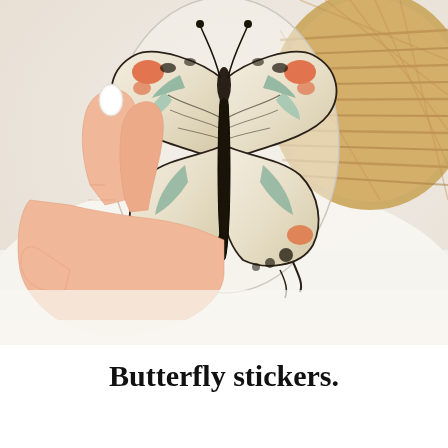[Figure (photo): A hand with white painted nails holding a clear butterfly sticker. The sticker depicts a detailed illustrated butterfly with cream, orange, and teal/sage green wing markings on a transparent background. Behind the hand is a woven rattan basket and a soft white/cream background.]
Butterfly stickers.